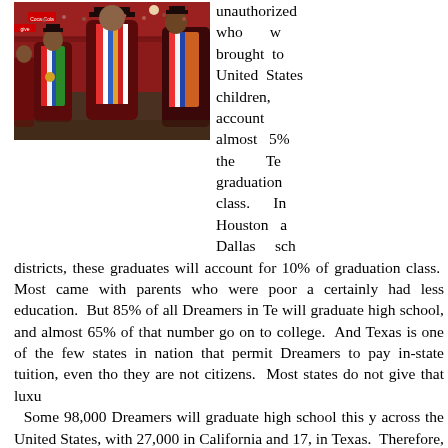[Figure (photo): Graduation ceremony photo showing students in maroon graduation gowns and colorful serape stoles walking in procession inside a large arena or gymnasium.]
unauthorized who w brought to United States children, account almost 5% the Te graduation class. In Houston a Dallas sch districts, these graduates will account for 10% of graduation class. Most came with parents who were poor a certainly had less education. But 85% of all Dreamers in Te will graduate high school, and almost 65% of that number go on to college. And Texas is one of the few states in nation that permit Dreamers to pay in-state tuition, even tho they are not citizens. Most states do not give that luxu Some 98,000 Dreamers will graduate high school this y across the United States, with 27,000 in California and 17, in Texas. Therefore, these two states account for almost of all Dreamers nationwide. A Texas legislator has submit a bill to the state congress to eliminate in-state tuition Dreamers. It is not expected to pass due to growing supp from both Republicans and Democrats that those gradu